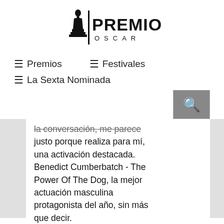[Figure (logo): Premios Oscar logo with Oscar statuette silhouette and text PREMIOS OSCAR]
☰ Premios
☰ Festivales
☰ La Sexta Nominada
la conversación, me parece justo porque realiza para mí, una activación destacada. Benedict Cumberbatch - The Power Of The Dog, la mejor actuación masculina protagonista del año, sin más que decir. Andrew Garfield - Tick, Tick...Boom!, De todos es el